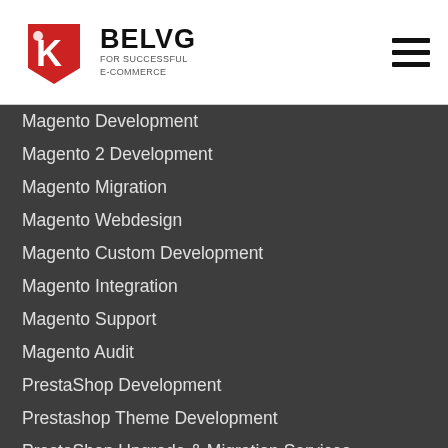BelVG — FOR SUCCESSFUL E-COMMERCE
Magento Development
Magento 2 Development
Magento Migration
Magento Webdesign
Magento Custom Development
Magento Integration
Magento Support
Magento Audit
PrestaShop Development
Prestashop Theme Development
PrestaShop Upgrade & Migration Services